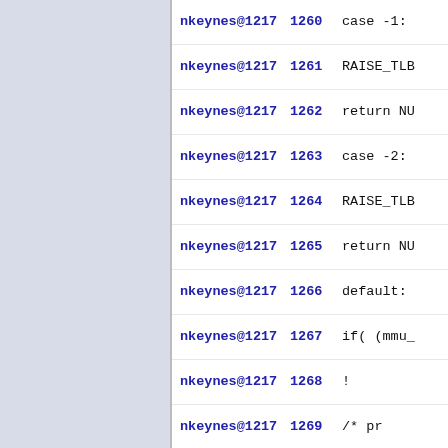nkeynes@1217  1260    case -1:
nkeynes@1217  1261        RAISE_TLB
nkeynes@1217  1262        return NU
nkeynes@1217  1263    case -2:
nkeynes@1217  1264        RAISE_TLB
nkeynes@1217  1265        return NU
nkeynes@1217  1266    default:
nkeynes@1217  1267        if( (mmu_
nkeynes@1217  1268            !
nkeynes@1217  1269            /* pr
nkeynes@1217  1270    RAISE